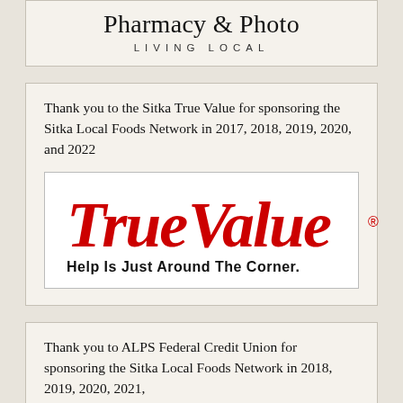[Figure (logo): Pharmacy & Photo — Living Local logo/card at top of page]
Thank you to the Sitka True Value for sponsoring the Sitka Local Foods Network in 2017, 2018, 2019, 2020, and 2022
[Figure (logo): True Value logo with tagline 'Help Is Just Around The Corner.']
Thank you to ALPS Federal Credit Union for sponsoring the Sitka Local Foods Network in 2018, 2019, 2020, 2021,